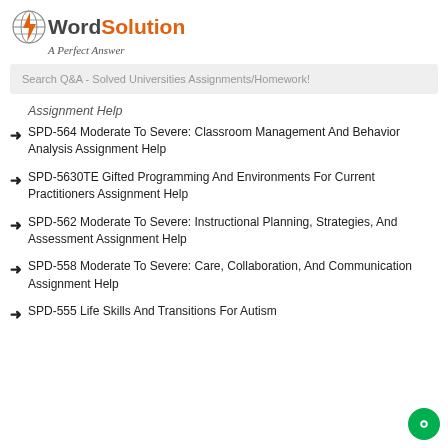[Figure (logo): My Word Solution logo with globe icon, orange lightning bolt, and tagline 'A Perfect Answer']
Search Q&A - Solved Universities Assignments/Homework!
Assignment Help
SPD-564 Moderate To Severe: Classroom Management And Behavior Analysis Assignment Help
SPD-5630TE Gifted Programming And Environments For Current Practitioners Assignment Help
SPD-562 Moderate To Severe: Instructional Planning, Strategies, And Assessment Assignment Help
SPD-558 Moderate To Severe: Care, Collaboration, And Communication Assignment Help
SPD-555 Life Skills And Transitions For Autism